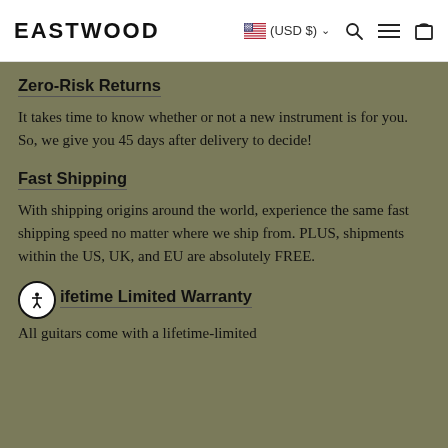EASTWOOD  (USD $)
Zero-Risk Returns
It takes time to know whether or not a new instrument is for you. So, we give you 45 days after delivery to decide!
Fast Shipping
With shipping origins around the world, experience the same fast shipping speed no matter where we ship from. PLUS, shipments within the US, UK, and EU are absolutely FREE.
Lifetime Limited Warranty
All guitars come with a lifetime-limited